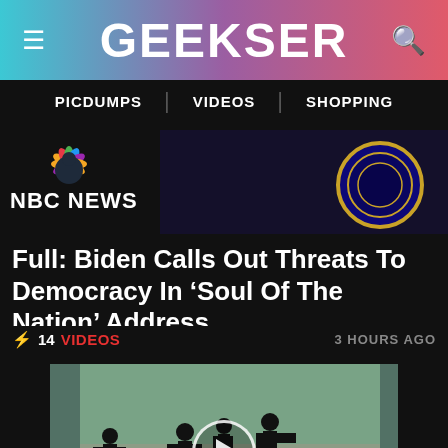GEEKSER
PICDUMPS | VIDEOS | SHOPPING
[Figure (screenshot): NBC News logo with peacock and thumbnail showing presidential seal in dark background]
Full: Biden Calls Out Threats To Democracy In ‘Soul Of The Nation’ Address
⚡ 14  VIDEOS    3 HOURS AGO
[Figure (photo): Video thumbnail showing silhouettes of people in a garage or car dealership with cars, a play button overlay in the center]